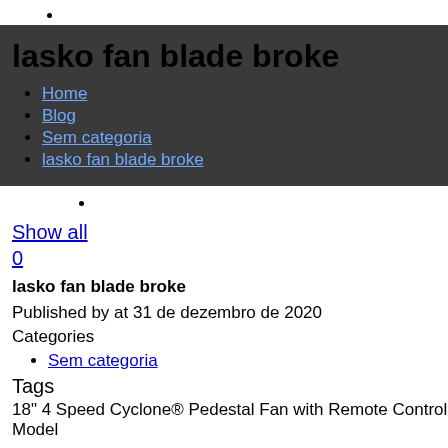•
lasko fan blade broke
Home
Blog
Sem categoria
lasko fan blade broke
•
Show all
0
lasko fan blade broke
Published by at 31 de dezembro de 2020
Categories
Sem categoria
Tags
18" 4 Speed Cyclone® Pedestal Fan with Remote Control Model